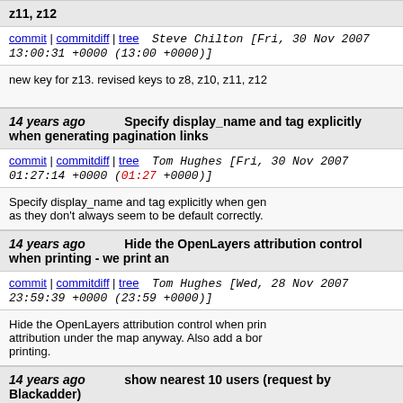z11, z12
commit | commitdiff | tree   Steve Chilton [Fri, 30 Nov 2007 13:00:31 +0000 (13:00 +0000)]
new key for z13. revised keys to z8, z10, z11, z12
14 years ago   Specify display_name and tag explicitly when generating pagination links
commit | commitdiff | tree   Tom Hughes [Fri, 30 Nov 2007 01:27:14 +0000 (01:27 +0000)]
Specify display_name and tag explicitly when gen as they don't always seem to be default correctly.
14 years ago   Hide the OpenLayers attribution control when printing - we print an
commit | commitdiff | tree   Tom Hughes [Wed, 28 Nov 2007 23:59:39 +0000 (23:59 +0000)]
Hide the OpenLayers attribution control when prin attribution under the map anyway. Also add a bor printing.
14 years ago   show nearest 10 users (request by Blackadder)